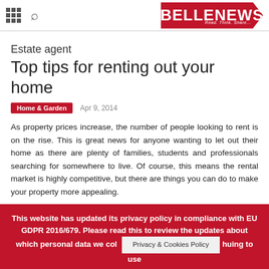BELLENEWS — Read. Think. Share...
Estate agent
Top tips for renting out your home
Home & Garden   Apr 9, 2014
As property prices increase, the number of people looking to rent is on the rise. This is great news for anyone wanting to let out their home as there are plenty of families, students and professionals searching for somewhere to live. Of course, this means the rental market is highly competitive, but there are things you can do to make your property more appealing.
This website has updated its privacy policy in compliance with EU GDPR 2016/679. Please read this to review the updates about which personal data we col... Privacy & Cookies Policy ...huing to use